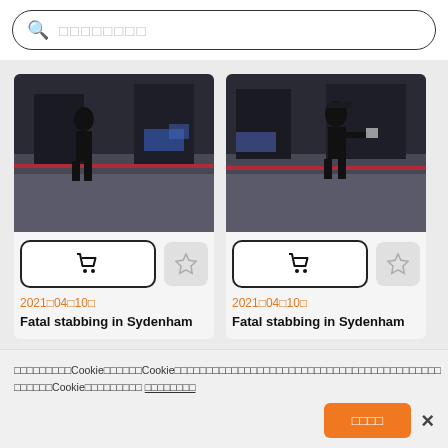[Figure (screenshot): Search bar with magnifying glass icon and placeholder text (squares representing CJK characters)]
[Figure (photo): Photo of a police officer at a crime scene with police tape on a dark city street - Fatal stabbing in Sydenham]
[Figure (photo): Photo of a police officer at a crime scene with police tape on a city street - Fatal stabbing in Sydenham]
2021□04□10□
Fatal stabbing in Sydenham
2021□04□10□
Fatal stabbing in Sydenham
□□□□□□□□□□□□□Cookie□□□□□□□Cookie□□□□□□□□□□□□□□□□□□□□□□□□□□□□□□□□□□□□□□□□□□□□□□□□□Cookie□□□□□□□□□□□□□□□ □□□□□□□□